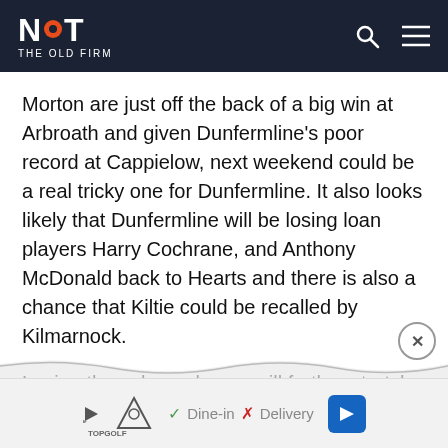NOT THE OLD FIRM
Morton are just off the back of a big win at Arbroath and given Dunfermline’s poor record at Cappielow, next weekend could be a real tricky one for Dunfermline. It also looks likely that Dunfermline will be losing loan players Harry Cochrane, and Anthony McDonald back to Hearts and there is also a chance that Kiltie could be recalled by Kilmarnock.
Losing these loan players will further stretch an already thin squad and leave Crawford with some